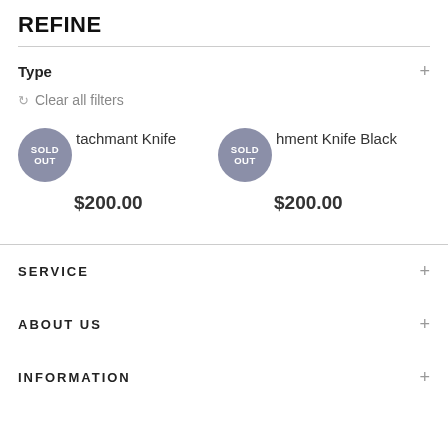REFINE
Type
Clear all filters
tachmant Knife $200.00
hment Knife Black $200.00
SERVICE
ABOUT US
INFORMATION